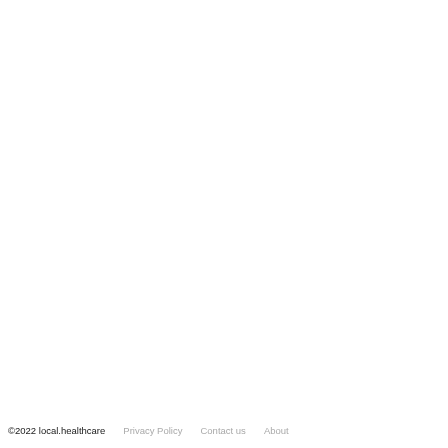©2022 local.healthcare    Privacy Policy    Contact us    About